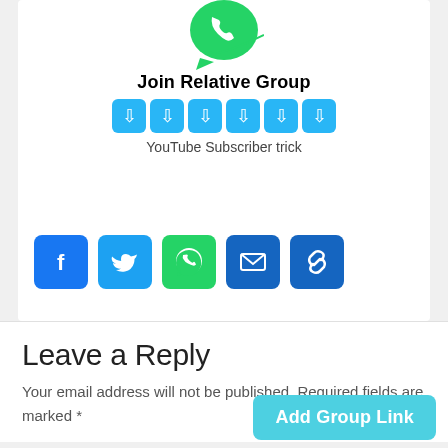[Figure (logo): WhatsApp green logo icon at top center]
Join Relative Group
[Figure (infographic): Row of 6 cyan/blue down-arrow boxes]
YouTube Subscriber trick
[Figure (infographic): Social share icons row: Facebook (blue), Twitter (blue), WhatsApp (green), Email (dark blue), Copy link (dark blue)]
Leave a Reply
Your email address will not be published. Required fields are marked *
Add Group Link